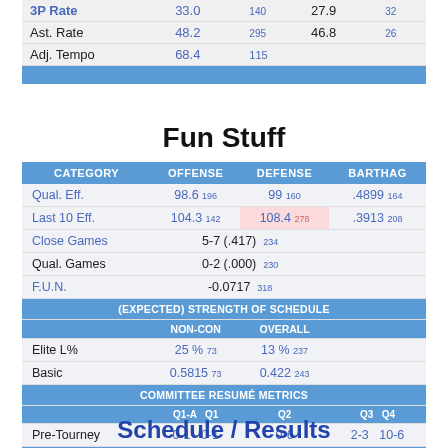|  |  |  |  |  |
| --- | --- | --- | --- | --- |
| 3P Rate | 33.0 | 140 | 27.9 | 32 |
| Ast. Rate | 48.2 | 295 | 46.8 | 26 |
| Adj. Tempo | 68.4 | 115 |  |  |
Fun Stuff
| CATEGORY | OFFENSE | DEFENSE | BARTHAG |
| --- | --- | --- | --- |
| Qual. Eff. | 98.6 196 | 99 160 | .4899 164 |
| Last 10 Eff. | 104.3 142 | 108.4 278 | .3913 208 |
| Close Games | 5-7 (.417) | 234 |  |
| Qual. Games | 0-2 (.000) | 230 |  |
| F.U.N. | -0.0717 | 318 |  |
| (EXPECTED) STRENGTH OF SCHEDULE |  |  |  |
| NON-CON | OVERALL |  |  |
| Elite L% | 25 % 73 | 13 % 237 |  |
| Basic | 0.5815 73 | 0.422 243 |  |
| COMMITTEE RESUMÉ METRICS |  |  |  |
| Q1-A | Q1 | Q2 | Q3 Q4 |
| Pre-Tourney | 0-1 | 0-1 0-6 | 2-3 10-6 |
Schedule / Results